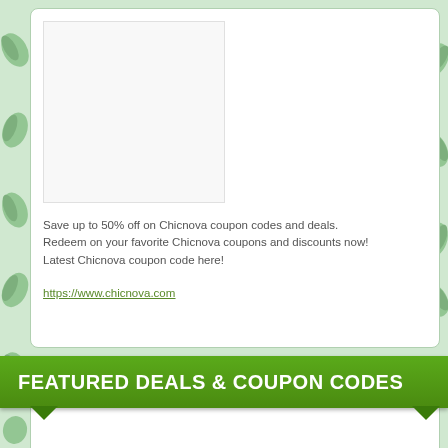[Figure (photo): White blank image placeholder rectangle]
Save up to 50% off on Chicnova coupon codes and deals. Redeem on your favorite Chicnova coupons and discounts now! Latest Chicnova coupon code here!
https://www.chicnova.com
FEATURED DEALS & COUPON CODES
0 Coupons Available